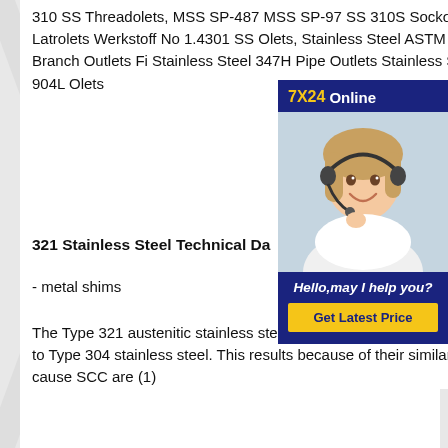310 SS Threadolets, MSS SP-487 MSS SP-97 SS 310S Sockolets,Stainless Steel 321 Elbolets, SS 321H Latrolets Werkstoff No 1.4301 SS Olets, Stainless Steel ASTM A182 316L Threaded Pipe 347 SS Forged Branch Outlets Fi Stainless Steel 347H Pipe Outlets Stainless Steel Outlets Pipe Fittin Stainless Steel 904L Olets
321 Stainless Steel Technical Da
- metal shims
The Type 321 austenitic stainless steel is susceptible to stress corrosion cracking (SCC) in halides similar to Type 304 stainless steel. This results because of their similarity in nickel content. Conditions which cause SCC are (1)
[Figure (other): Chat widget overlay showing '7X24 Online' header with yellow '7X24' text and white 'Online' text on dark blue background, photo of a young woman with headset smiling, and bottom panel with italic text 'Hello,may I help you?' and a yellow 'Get Latest Price' button on dark blue background.]